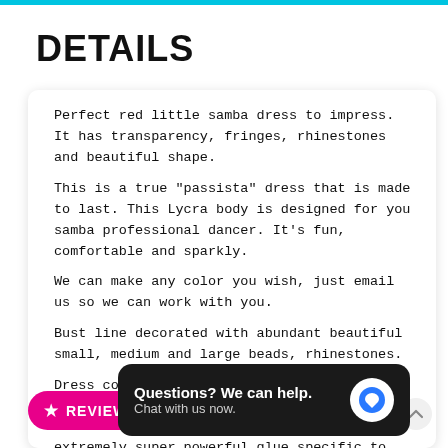DETAILS
Perfect red little samba dress to impress. It has transparency, fringes, rhinestones and beautiful shape.
This is a true "passista" dress that is made to last. This Lycra body is designed for you samba professional dancer. It's fun, comfortable and sparkly.
We can make any color you wish, just email us so we can work with you.
Bust line decorated with abundant beautiful small, medium and large beads, rhinestones.
Dress comes with a pair of sparkling cuffs.
Dress ties on
extremely super powerful glue specific to stones. It will only come off if you literally rip stone out.